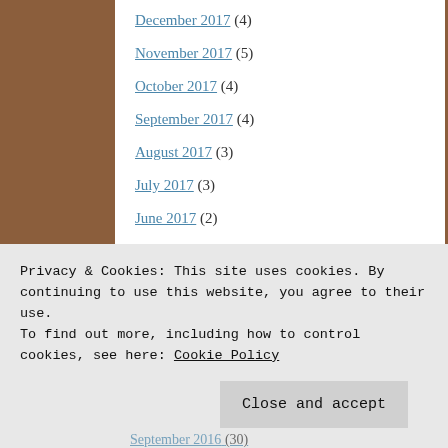December 2017 (4)
November 2017 (5)
October 2017 (4)
September 2017 (4)
August 2017 (3)
July 2017 (3)
June 2017 (2)
May 2017 (2)
April 2017 (19)
March 2017 (5)
February 2017 (4)
Privacy & Cookies: This site uses cookies. By continuing to use this website, you agree to their use.
To find out more, including how to control cookies, see here: Cookie Policy
Close and accept
September 2016 (30)